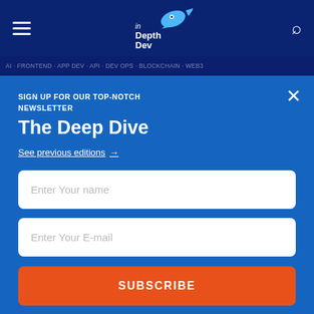inDepthDev navigation bar with hamburger menu and search icon
[Figure (logo): inDepthDev logo with blue bird/fish graphic and text 'in Depth Dev']
SIGN UP FOR OUR TOP-NOTCH NEWSLETTER
The Deep Dive
See previous editions →
Enter Your name
Enter Your E-mail
SUBSCRIBE